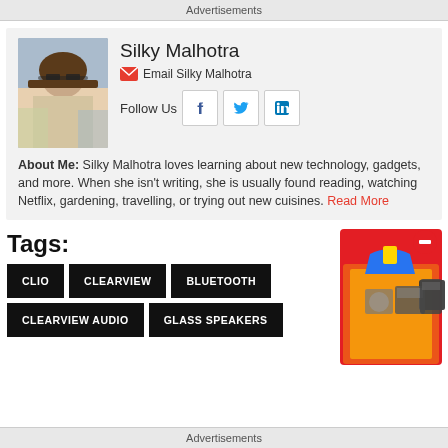Advertisements
[Figure (photo): Author photo of Silky Malhotra — woman with sunglasses outdoors]
Silky Malhotra
Email Silky Malhotra
Follow Us
[Figure (infographic): Social media icons: Facebook, Twitter, LinkedIn]
About Me: Silky Malhotra loves learning about new technology, gadgets, and more. When she isn't writing, she is usually found reading, watching Netflix, gardening, travelling, or trying out new cuisines. Read More
Tags:
[Figure (photo): Flipkart advertisement showing shopping bag and kitchen appliances with a red box and cube logo]
CLIO
CLEARVIEW
BLUETOOTH
CLEARVIEW AUDIO
GLASS SPEAKERS
Advertisements